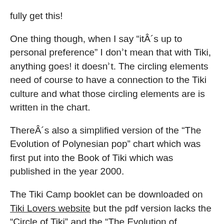fully get this!
One thing though, when I say “itÂ´s up to personal preference” I donʾt mean that with Tiki, anything goes! it doesnʾt. The circling elements need of course to have a connection to the Tiki culture and what those circling elements are is written in the chart.
ThereÂ´s also a simplified version of the “The Evolution of Polynesian pop” chart which was first put into the Book of Tiki which was published in the year 2000.
The Tiki Camp booklet can be downloaded on Tiki Lovers website but the pdf version lacks the “Circle of Tiki” and the “The Evolution of Polynesian pop” charts. The Circle of Tiki can be found on the webpage though. The booklet was part of a Tiki Tour in California called The Californian “Van Hagen Punch” Tour visiting various Tiki bars